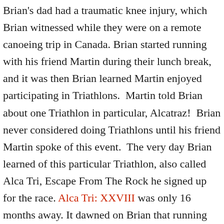Brian's dad had a traumatic knee injury, which Brian witnessed while they were on a remote canoeing trip in Canada. Brian started running with his friend Martin during their lunch break, and it was then Brian learned Martin enjoyed participating in Triathlons.  Martin told Brian about one Triathlon in particular, Alcatraz!  Brian never considered doing Triathlons until his friend Martin spoke of this event.  The very day Brian learned of this particular Triathlon, also called Alca Tri, Escape From The Rock he signed up for the race. Alca Tri: XXVIII was only 16 months away. It dawned on Brian that running for one, was a great way of connecting and overcoming  the trauma of his dad's traumatic knee injury. You can read more about Brian's journey on  Brian's personal blog.